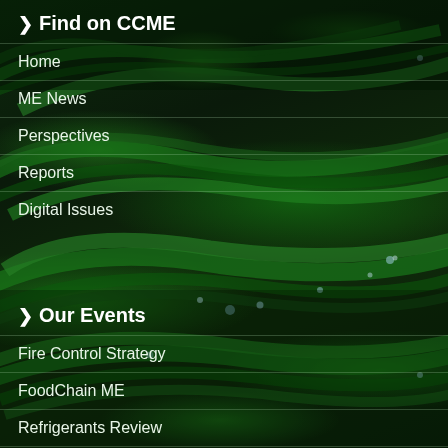Find on CCME
Home
ME News
Perspectives
Reports
Digital Issues
Our Events
Fire Control Strategy
FoodChain ME
Refrigerants Review
VRF Conference
IAQ Webinar